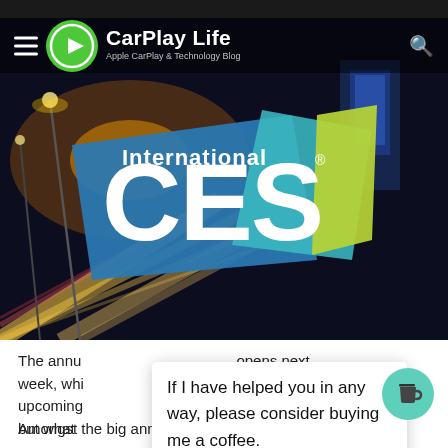[Figure (screenshot): CarPlay Life website screenshot showing header banner with city night background and International CES logo overlay, with article text below and a tooltip reading 'If I have helped you in any way, please consider buying me a coffee.']
The annu opens next week, whi and upcoming in 2011 but what usia
If I have helped you in any way, please consider buying me a coffee.
Amongst the big announcements, and the rather strange